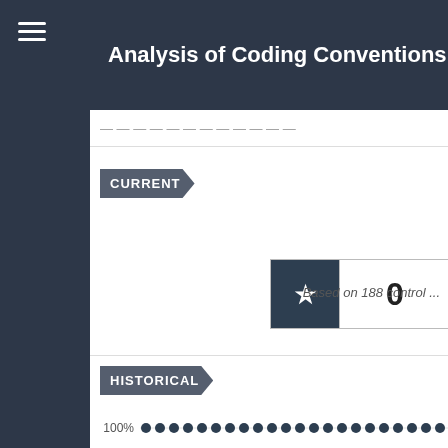Analysis of Coding Conventions for Nette
CURRENT
|  | Score | Percentage |
| --- | --- | --- |
| ★ | 0 | 100% |
Based on 188 control ...
HISTORICAL
[Figure (line-chart): Historical compliance]